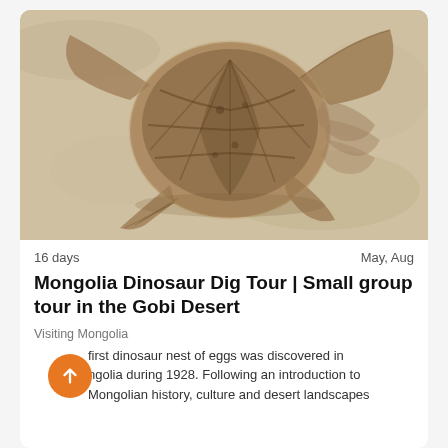[Figure (photo): A fossilized turtle embedded in light-colored stone/rock, showing shell and flipper details]
16 days
May, Aug
Mongolia Dinosaur Dig Tour | Small group tour in the Gobi Desert
Visiting Mongolia
first dinosaur nest of eggs was discovered in ngolia during 1928. Following an introduction to Mongolian history, culture and desert landscapes